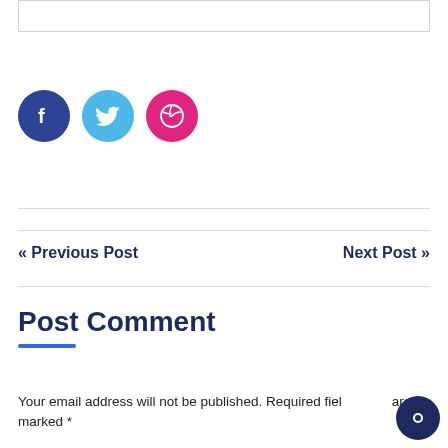[Figure (illustration): Top bordered input/text box, partially visible at top of page]
[Figure (illustration): Three circular social media icons: Facebook (dark blue), Twitter (light blue), Dribbble (pink/magenta)]
« Previous Post
Next Post »
Post Comment
Your email address will not be published. Required fields are marked *